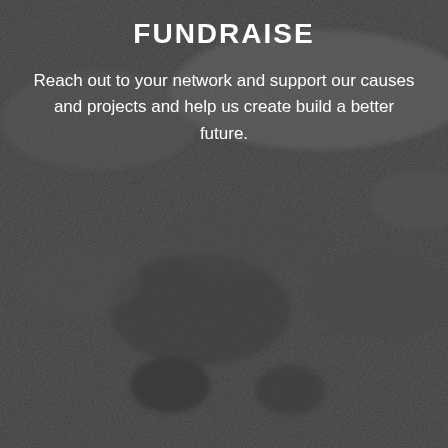[Figure (photo): Dark grayscale textured background image showing a rocky or sandy terrain landscape, appearing like a aerial or close-up view of rough ground with dark shadowed areas.]
FUNDRAISE
Reach out to your network and support our causes and projects and help us create build a better future.